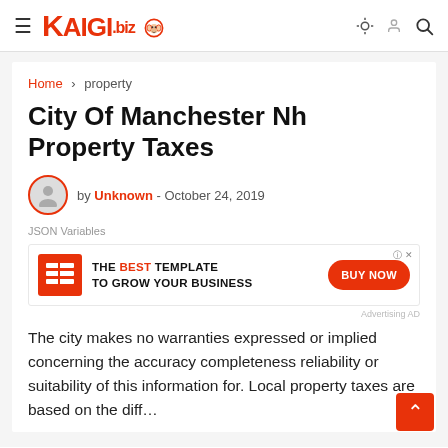KAIGI.biz
Home > property
City Of Manchester Nh Property Taxes
by Unknown - October 24, 2019
JSON Variables
[Figure (other): Advertisement banner: THE BEST TEMPLATE TO GROW YOUR BUSINESS with BUY NOW button]
The city makes no warranties expressed or implied concerning the accuracy completeness reliability or suitability of this information for. Local property taxes are based on the diff...